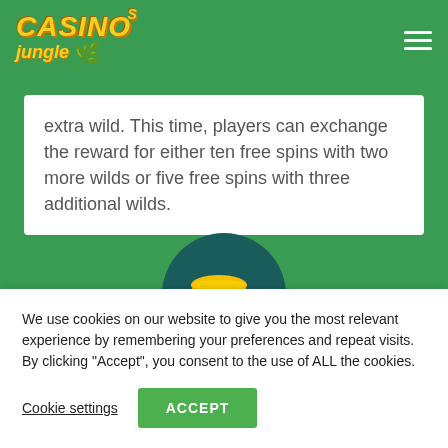Casinos Jungle
extra wild. This time, players can exchange the reward for either ten free spins with two more wilds or five free spins with three additional wilds.
[Figure (illustration): Circular illustration showing gold coins on a dark teal background, partially visible at bottom of green section]
We use cookies on our website to give you the most relevant experience by remembering your preferences and repeat visits. By clicking “Accept”, you consent to the use of ALL the cookies.
Cookie settings    ACCEPT